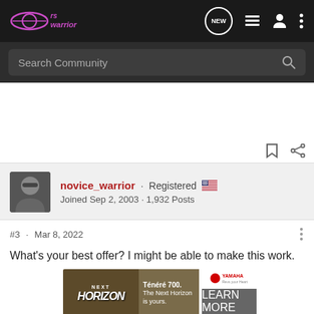[Figure (screenshot): RS Warrior forum website navigation bar with logo, NEW chat icon, list icon, user icon, and three-dot menu]
[Figure (screenshot): Search Community search bar on dark background]
novice_warrior · Registered 🇺🇸
Joined Sep 2, 2003 · 1,932 Posts
#3 · Mar 8, 2022
What's your best offer? I might be able to make this work.
[Figure (photo): Yamaha Ténéré 700 advertisement banner: Next Horizon with motorcycle image, text 'Ténéré 700. The Next Horizon is yours.' and Yamaha logo with LEARN MORE button]